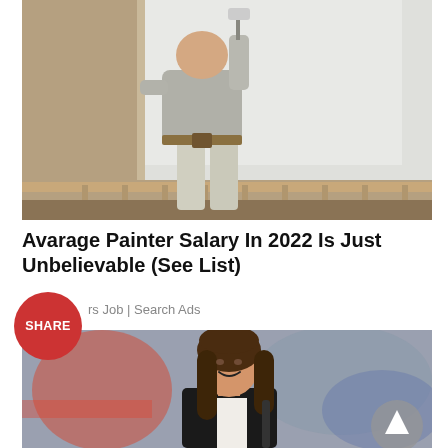[Figure (photo): A bald man wearing a grey t-shirt and beige pants painting a wall white with a paint roller, viewed from behind. Interior room setting with brown/beige walls and a white baseboard.]
Avarage Painter Salary In 2022 Is Just Unbelievable (See List)
rs Job | Search Ads
[Figure (photo): A smiling brunette woman with long hair wearing a black blazer and white top, standing in a blurred indoor/commercial setting with colorful background.]